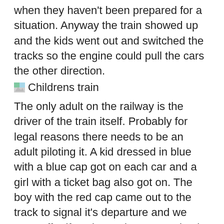when they haven't been prepared for a situation. Anyway the train showed up and the kids went out and switched the tracks so the engine could pull the cars the other direction.
[Figure (photo): Broken image placeholder labeled 'Childrens train']
The only adult on the railway is the driver of the train itself. Probably for legal reasons there needs to be an adult piloting it. A kid dressed in blue with a blue cap got on each car and a girl with a ticket bag also got on. The boy with the red cap came out to the track to signal it's departure and we were off. Fifty minutes later we arrived at the end. There's not much there but if a person wanted to walk a block they could catch a modern tram back to town. Since we bought round trip tickets we waited for the next train back. I really would have rather taken the tram because we would've been back in town in about 10 minutes but the kids liked the children's train. One thing we didn't get to do is stop in the middle and walk to the lookout tower. We caught the last train so we couldn't get off at an earlier stop. At the same stop as the lookout tower is a chair lift that will take you to the bottom of the hills. I wanted to take this but if for some reason they wouldn't allow the kids